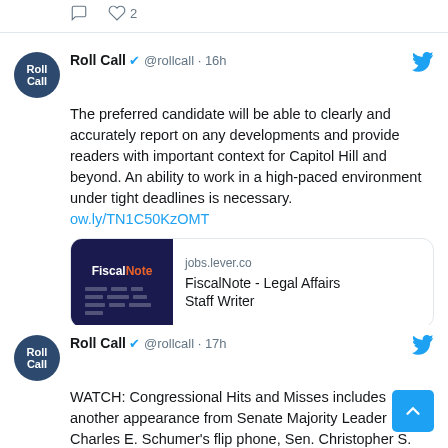[Figure (screenshot): Top stub of a previous tweet showing comment icon, heart icon and count of 2]
[Figure (screenshot): Roll Call tweet from @rollcall posted 16h ago: 'The preferred candidate will be able to clearly and accurately report on any developments and provide readers with important context for Capitol Hill and beyond. An ability to work in a high-paced environment under tight deadlines is necessary. ow.ly/TN1C50KzOMT' with FiscalNote job link preview card showing jobs.lever.co and title 'FiscalNote - Legal Affairs Staff Writer', with comment and 2 likes icons]
[Figure (screenshot): Roll Call tweet from @rollcall posted 17h ago: 'WATCH: Congressional Hits and Misses includes another appearance from Senate Majority Leader Charles E. Schumer's flip phone, Sen. Christopher S. Murphy talking up' (truncated)]